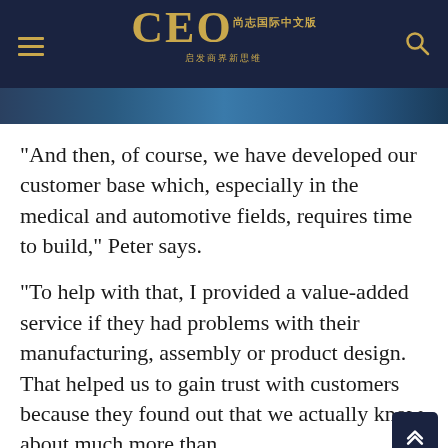CEO 尚志国际中文版 启发商界新思维
[Figure (photo): Partial blue-toned photograph visible as an image strip below the header bar]
“And then, of course, we have developed our customer base which, especially in the medical and automotive fields, requires time to build,” Peter says.
“To help with that, I provided a value-added service if they had problems with their manufacturing, assembly or product design. That helped us to gain trust with customers because they found out that we actually know about much more than